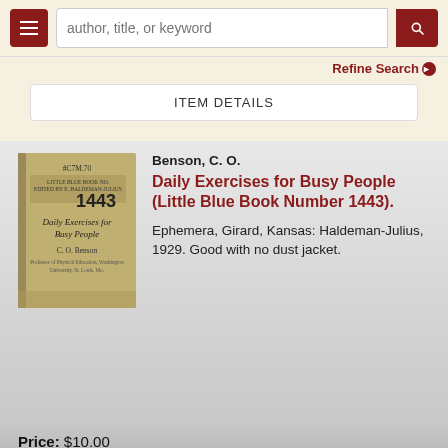author, title, or keyword | Refine Search
ITEM DETAILS
Benson, C. O.
Daily Exercises for Busy People (Little Blue Book Number 1443).
Ephemera, Girard, Kansas: Haldeman-Julius, 1929. Good with no dust jacket.
[Figure (photo): Cover of the book 'Daily Exercises for Busy People' Little Blue Book Number 1443 by C.O. Benson, a small yellowish-tan booklet]
Price: $10.00
ADD TO CART
ITEM DETAILS